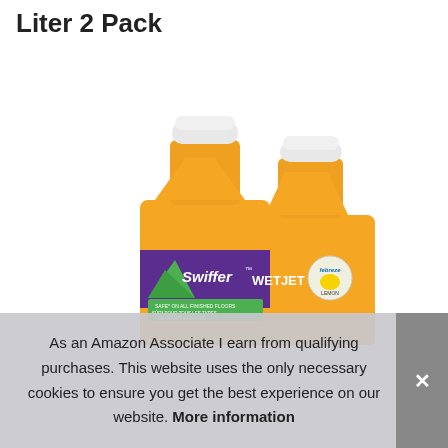Liter 2 Pack
[Figure (photo): Two orange Swiffer WetJet cleaning solution bottles (1 liter each) in a 2-pack. The bottles have white caps and display the Swiffer WetJet branding with a purple and green label. The label mentions it is safe on all finished floors and features a Febreze lemon scent logo.]
As an Amazon Associate I earn from qualifying purchases. This website uses the only necessary cookies to ensure you get the best experience on our website. More information